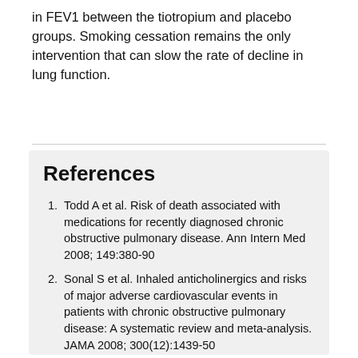in FEV1 between the tiotropium and placebo groups. Smoking cessation remains the only intervention that can slow the rate of decline in lung function.
References
Todd A et al. Risk of death associated with medications for recently diagnosed chronic obstructive pulmonary disease. Ann Intern Med 2008; 149:380-90
Sonal S et al. Inhaled anticholinergics and risks of major adverse cardiovascular events in patients with chronic obstructive pulmonary disease: A systematic review and meta-analysis. JAMA 2008; 300(12):1439-50
Tashkin DP et al. A 4-year trial of tiotropium in chronic obstructive pulmonary disease. N Engl J Med. 2008;359(15):1543-54.
Most COPD patients OK on inhaler. New Zealand Doctor. 22 October 2008:17.